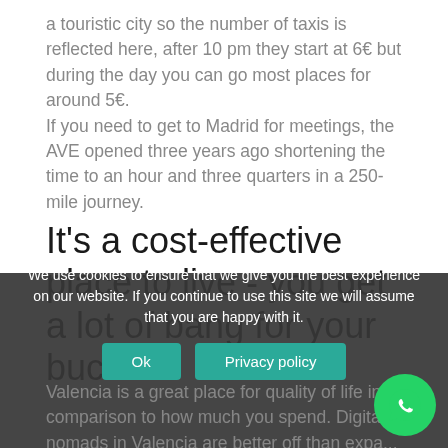a touristic city so the number of taxis is reflected here, after 10 pm they start at 6€ but during the day you can go most places for around 5€. If you need to get to Madrid for meetings, the AVE opened three years ago shortening the time to an hour and three quarters in a 250-mile journey.
It's a cost-effective place to live - you get a lot of bang for your buck
Valencia is a great place for quality of life in comparison to how much you spend. Digital nomads in Valencia are better off than expats Madrid or Barc... ...ght out
We use cookies to ensure that we give you the best experience on our website. If you continue to use this site we will assume that you are happy with it.